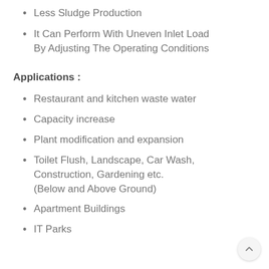Less Sludge Production
It Can Perform With Uneven Inlet Load By Adjusting The Operating Conditions
Applications :
Restaurant and kitchen waste water
Capacity increase
Plant modification and expansion
Toilet Flush, Landscape, Car Wash, Construction, Gardening etc. (Below and Above Ground)
Apartment Buildings
IT Parks